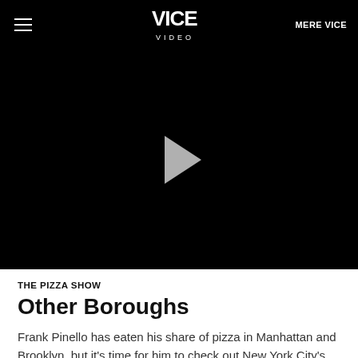VICE VIDEO | MERE VICE
[Figure (screenshot): Black video player with a gray play button triangle in the center]
THE PIZZA SHOW
Other Boroughs
Frank Pinello has eaten his share of pizza in Manhattan and Brooklyn, but it's time for him to check out New York City's other boroughs—Queens, Staten Island, and the Bronx—to discover